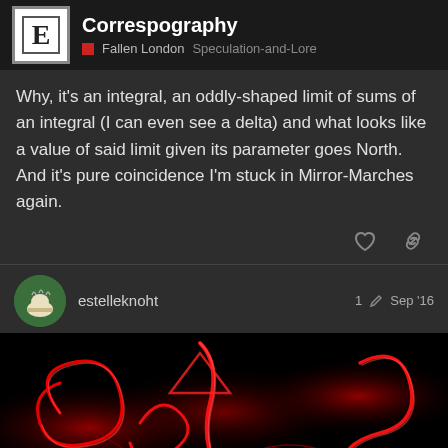Correspography — Fallen London Speculation-and-Lore
Why, it's an integral, an oddly-shaped limit of sums of an integral (I can even see a delta) and what looks like a value of said limit given its parameter goes North.
And it's pure coincidence I'm stuck in Mirror-Marches again.
estelleknoht   1   Sep '16
[Figure (photo): Abstract red glowing light trails and curves on a black background, resembling integral or mathematical symbols rendered as neon light art.]